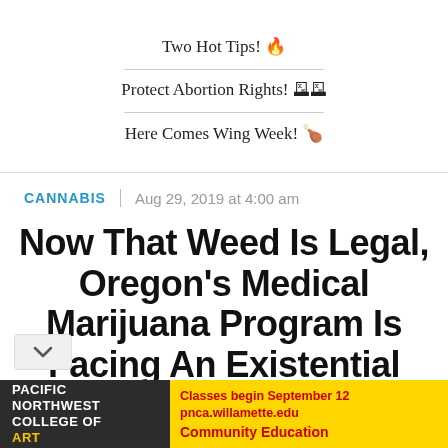Two Hot Tips! 🔥
Protect Abortion Rights! 🗳🗳
Here Comes Wing Week! 🍗
CANNABIS | Aug 29, 2019 at 4:00 am
Now That Weed Is Legal, Oregon's Medical Marijuana Program Is Facing An Existential Crisis
[Figure (photo): Advertisement banner for Pacific Northwest College of Art showing classes begin September 12 at pnca.willamette.edu, Community Education]